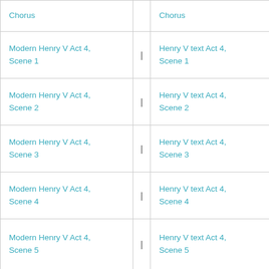|  |  |  |
| --- | --- | --- |
| Chorus | | | Chorus |
| Modern Henry V Act 4, Scene 1 | | | Henry V text Act 4, Scene 1 |
| Modern Henry V Act 4, Scene 2 | | | Henry V text Act 4, Scene 2 |
| Modern Henry V Act 4, Scene 3 | | | Henry V text Act 4, Scene 3 |
| Modern Henry V Act 4, Scene 4 | | | Henry V text Act 4, Scene 4 |
| Modern Henry V Act 4, Scene 5 | | | Henry V text Act 4, Scene 5 |
| Modern Henry V Act 4, ... | | | Henry V text Act 4, ... |